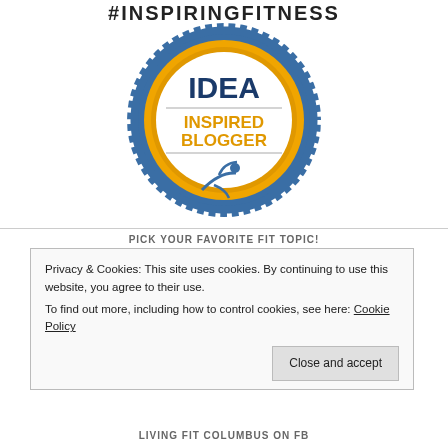#INSPIRINGFITNESS
[Figure (logo): IDEA Inspired Blogger badge — circular badge with blue outer ring with dashed white dots, gold ring, inner white circle. Text 'IDEA' in bold dark blue, 'INSPIRED BLOGGER' in gold/orange below, horizontal line, and a blue running figure icon at bottom.]
PICK YOUR FAVORITE FIT TOPIC!
Privacy & Cookies: This site uses cookies. By continuing to use this website, you agree to their use.
To find out more, including how to control cookies, see here: Cookie Policy
Close and accept
LIVING FIT COLUMBUS ON FB